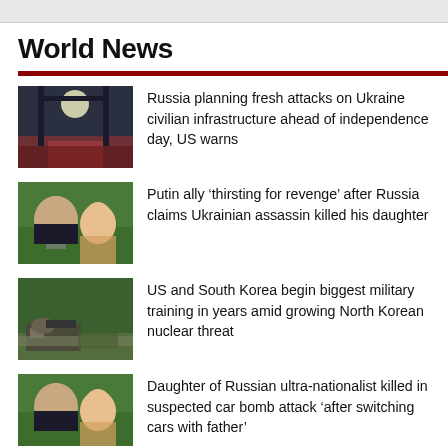World News
Russia planning fresh attacks on Ukraine civilian infrastructure ahead of independence day, US warns
Putin ally ‘thirsting for revenge’ after Russia claims Ukrainian assassin killed his daughter
US and South Korea begin biggest military training in years amid growing North Korean nuclear threat
Daughter of Russian ultra-nationalist killed in suspected car bomb attack ‘after switching cars with father’